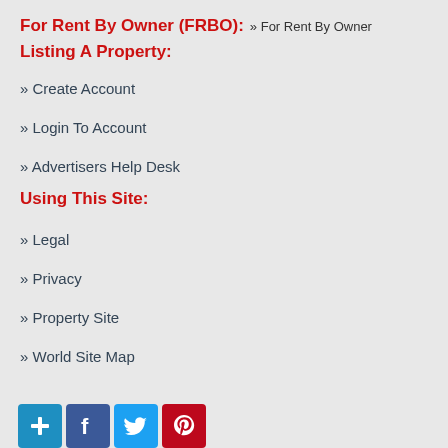For Rent By Owner (FRBO): » For Rent By Owner
Listing A Property:
» Create Account
» Login To Account
» Advertisers Help Desk
Using This Site:
» Legal
» Privacy
» Property Site
» World Site Map
[Figure (other): Social share buttons: AddThis, Facebook, Twitter, Pinterest]